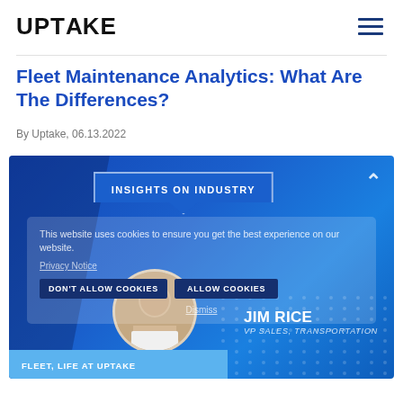UPTAKE
Fleet Maintenance Analytics: What Are The Differences?
By Uptake, 06.13.2022
[Figure (screenshot): Blue graphic with 'Insights on Industry' badge, a cookie consent overlay with 'DON'T ALLOW COOKIES' and 'ALLOW COOKIES' buttons, a circular headshot of Jim Rice (VP Sales, Transportation), and a footer bar reading 'FLEET, LIFE AT UPTAKE']